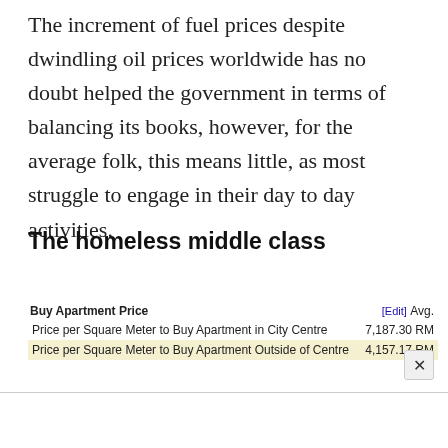The increment of fuel prices despite dwindling oil prices worldwide has no doubt helped the government in terms of balancing its books, however, for the average folk, this means little, as most struggle to engage in their day to day activities.
The homeless middle class
| Buy Apartment Price | [Edit] Avg. |
| --- | --- |
| Price per Square Meter to Buy Apartment in City Centre | 7,187.30 RM |
| Price per Square Meter to Buy Apartment Outside of Centre | 4,157.17 RM |